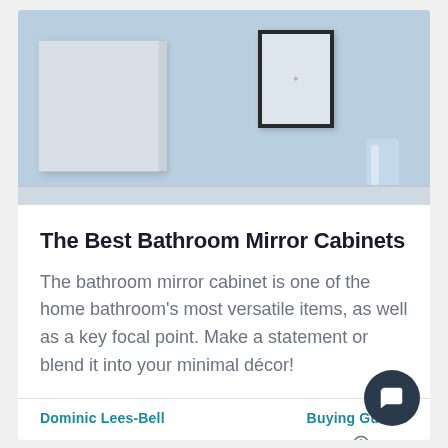[Figure (photo): Bathroom scene with a white mirror cabinet on a light blue wall, a framed picture, and a glass cup. Light blue/grey background.]
The Best Bathroom Mirror Cabinets
The bathroom mirror cabinet is one of the home bathroom's most versatile items, as well as a key focal point. Make a statement or blend it into your minimal décor!
Dominic Lees-Bell
Buying Guides
19th July 2021
4 Min